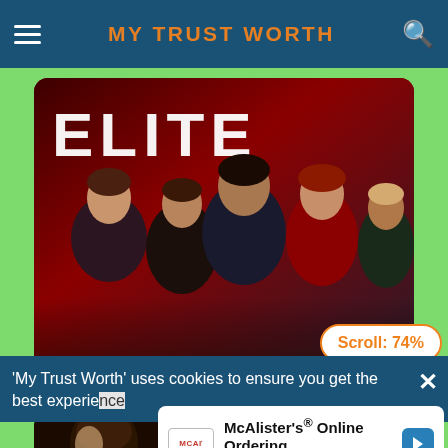MY TRUST WORTH
[Figure (screenshot): Elite Netflix show promotional image with cast members against red background, with 'ELITE' text overlay]
Elite - ENGLISH
[Figure (screenshot): Spartacus show promotional image with golden title text on dark background]
[Figure (screenshot): Scroll: 74% badge indicator]
'My Trust Worth' uses cookies to ensure you get the best experience
[Figure (screenshot): McAlister's Online Ordering - McAlister's Deli advertisement overlay]